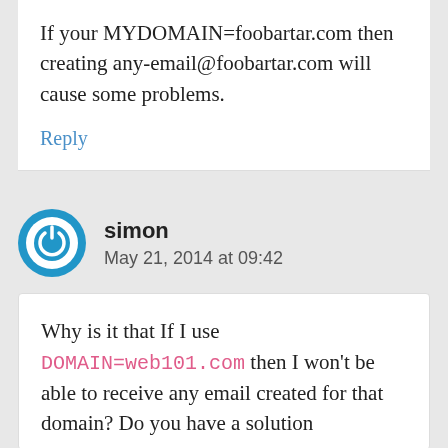If your MYDOMAIN=foobartar.com then creating any-email@foobartar.com will cause some problems.
Reply
simon
May 21, 2014 at 09:42
Why is it that If I use DOMAIN=web101.com then I won't be able to receive any email created for that domain? Do you have a solution